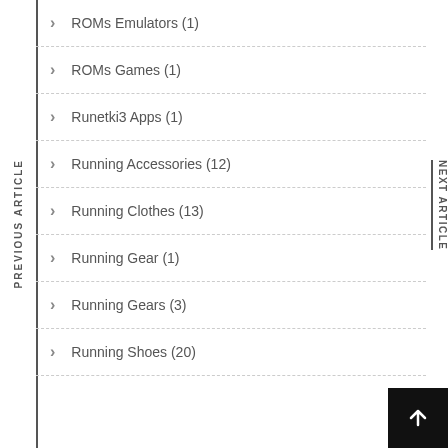ROMs Emulators (1)
ROMs Games (1)
Runetki3 Apps (1)
Running Accessories (12)
Running Clothes (13)
Running Gear (1)
Running Gears (3)
Running Shoes (20)